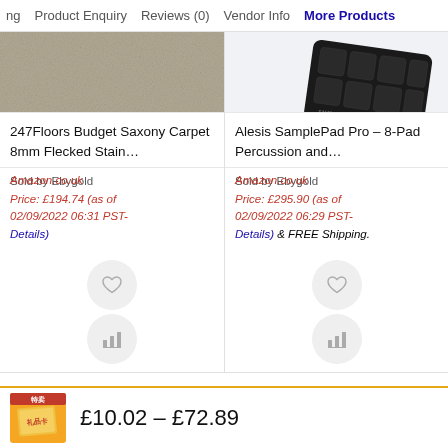ng   Product Enquiry   Reviews (0)   Vendor Info   More Products
[Figure (photo): Carpet texture - beige/grey saxony carpet swatch]
[Figure (photo): Alesis SamplePad Pro device - black electronic drum pad on white background]
247Floors Budget Saxony Carpet 8mm Flecked Stain…
Alesis SamplePad Pro – 8-Pad Percussion and…
Amazon.co.uk
Sold by Ebygold
Price: £194.74 (as of 02/09/2022 06:31 PST- Details)
Amazon.co.uk
Sold by Ebygold
Price: £295.90 (as of 02/09/2022 06:29 PST- Details) & FREE Shipping.
[Figure (illustration): Heart (wishlist) icon and bar chart comparison icon buttons]
[Figure (illustration): Heart (wishlist) icon and bar chart comparison icon buttons]
[Figure (photo): Small product thumbnail - yellow/orange item with red banner]
£10.02 – £72.89